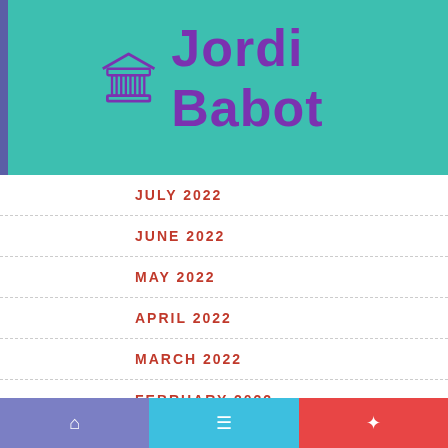Jordi Babot
AUGUST 2022
JULY 2022
JUNE 2022
MAY 2022
APRIL 2022
MARCH 2022
FEBRUARY 2022
JANUARY 2022
DECEMBER 2021
Navigation footer with three segments